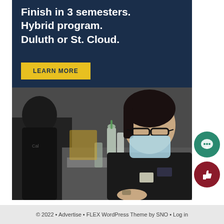[Figure (illustration): Educational program advertisement. Top section has dark navy blue background with white bold text: 'Finish in 3 semesters. Hybrid program. Duluth or St. Cloud.' A yellow 'LEARN MORE' button is shown. Yellow sidebar strip on the right. Bottom section shows a photo of a nursing student in black scrubs wearing glasses and a face mask, seated at a desk with hand sanitizer bottles visible. University of St. Scholastica badge is visible. A green chat bubble icon and a dark red thumbs-up bubble icon appear in the bottom-right corner.]
© 2022 • Advertise • FLEX WordPress Theme by SNO • Log in